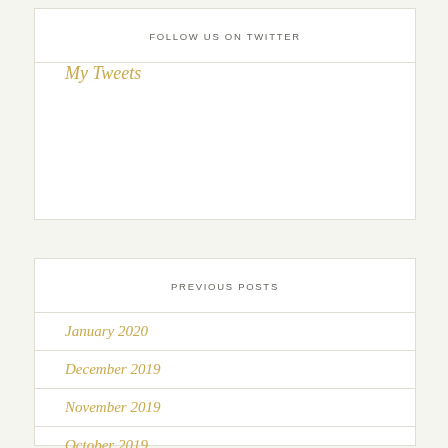FOLLOW US ON TWITTER
My Tweets
PREVIOUS POSTS
January 2020
December 2019
November 2019
October 2019
September 2019